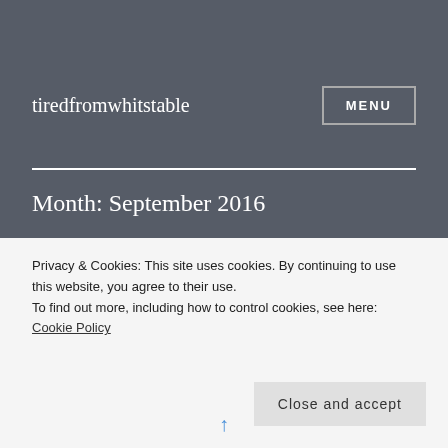tiredfromwhitstable
Month: September 2016
Enough now... Why Can't I Sleep?
Privacy & Cookies: This site uses cookies. By continuing to use this website, you agree to their use.
To find out more, including how to control cookies, see here: Cookie Policy
Close and accept